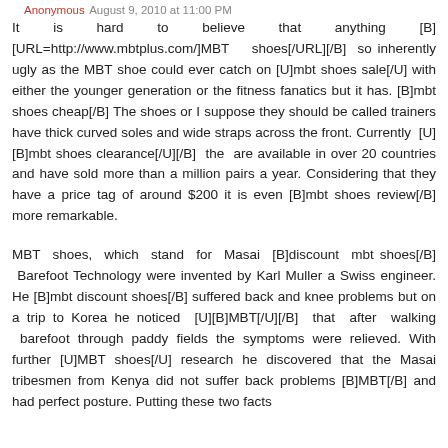Anonymous August 9, 2010 at 11:00 PM
It is hard to believe that anything [B][URL=http://www.mbtplus.com/]MBT shoes[/URL][/B] so inherently ugly as the MBT shoe could ever catch on [U]mbt shoes sale[/U] with either the younger generation or the fitness fanatics but it has. [B]mbt shoes cheap[/B] The shoes or I suppose they should be called trainers have thick curved soles and wide straps across the front. Currently [U][B]mbt shoes clearance[/U][/B] the are available in over 20 countries and have sold more than a million pairs a year. Considering that they have a price tag of around $200 it is even [B]mbt shoes review[/B] more remarkable.
MBT shoes, which stand for Masai [B]discount mbt shoes[/B] Barefoot Technology were invented by Karl Muller a Swiss engineer. He [B]mbt discount shoes[/B] suffered back and knee problems but on a trip to Korea he noticed [U][B]MBT[/U][/B] that after walking barefoot through paddy fields the symptoms were relieved. With further [U]MBT shoes[/U] research he discovered that the Masai tribesmen from Kenya did not suffer back problems [B]MBT[/B] and had perfect posture. Putting these two facts